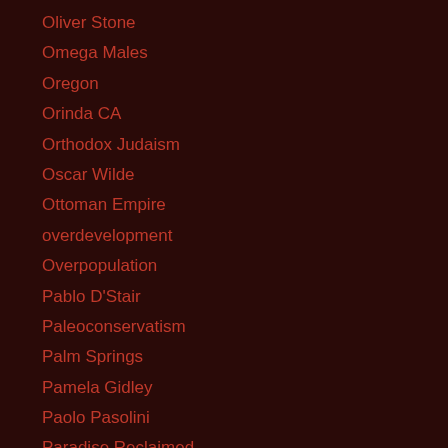Oliver Stone
Omega Males
Oregon
Orinda CA
Orthodox Judaism
Oscar Wilde
Ottoman Empire
overdevelopment
Overpopulation
Pablo D'Stair
Paleoconservatism
Palm Springs
Pamela Gidley
Paolo Pasolini
Paradise Reclaimed